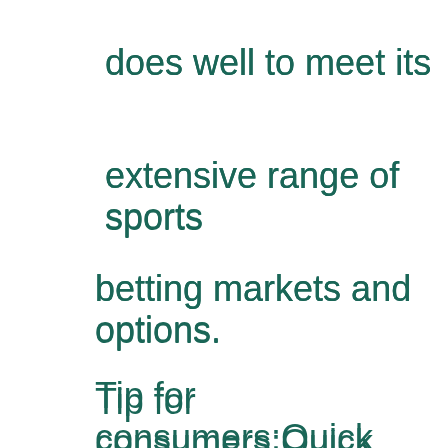does well to meet its extensive range of sports betting markets and options. Tip for consumers:Quick responses via fb. You will receive a 100% 1xbet